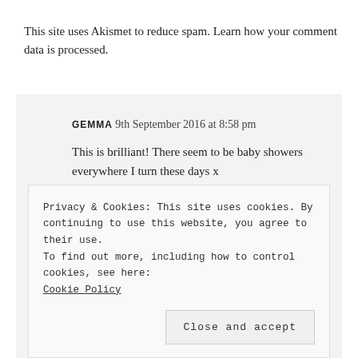This site uses Akismet to reduce spam. Learn how your comment data is processed.
GEMMA 9th September 2016 at 8:58 pm
This is brilliant! There seem to be baby showers everywhere I turn these days x
Gemma recently posted…Being a child and losing a parent
Privacy & Cookies: This site uses cookies. By continuing to use this website, you agree to their use.
To find out more, including how to control cookies, see here: Cookie Policy
Close and accept